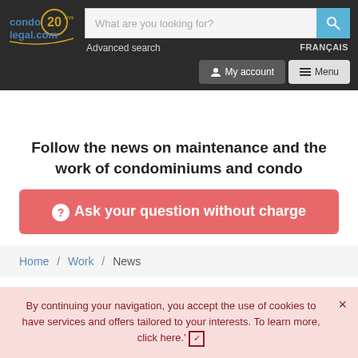[Figure (logo): condolegal.com logo with '20' anniversary badge in gold and blue]
What are you looking for?
Advanced search
FRANÇAIS
My account
Menu
Follow the news on maintenance and the work of condominiums and condo
❷ Ask your question without charge
Home / Work / News
By continuing your navigation, you accept the use of cookies to have services and offers tailored to your interests. To learn more, click here.' ☑